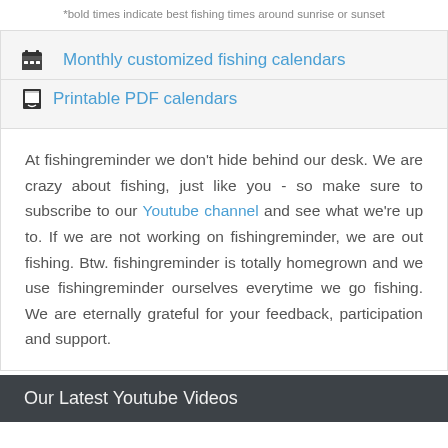*bold times indicate best fishing times around sunrise or sunset
Monthly customized fishing calendars
Printable PDF calendars
At fishingreminder we don't hide behind our desk. We are crazy about fishing, just like you - so make sure to subscribe to our Youtube channel and see what we're up to. If we are not working on fishingreminder, we are out fishing. Btw. fishingreminder is totally homegrown and we use fishingreminder ourselves everytime we go fishing. We are eternally grateful for your feedback, participation and support.
Our Latest Youtube Videos